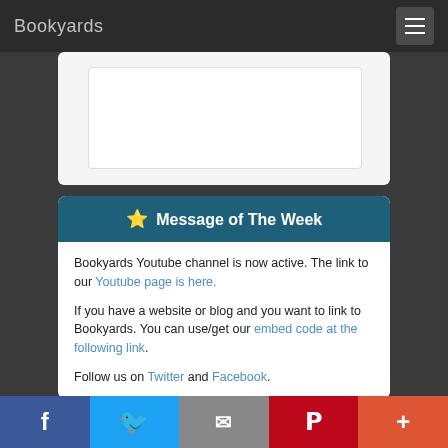Bookyards
[Figure (screenshot): Partially visible white card with inner white box, likely a form or embed area]
⭐ Message of The Week
Bookyards Youtube channel is now active. The link to our Youtube page is here.
If you have a website or blog and you want to link to Bookyards. You can use/get our embed code at the following link.
Follow us on Twitter and Facebook.
[Figure (screenshot): Social media share bar at bottom with Facebook, Twitter, Email, Pinterest, and More buttons]